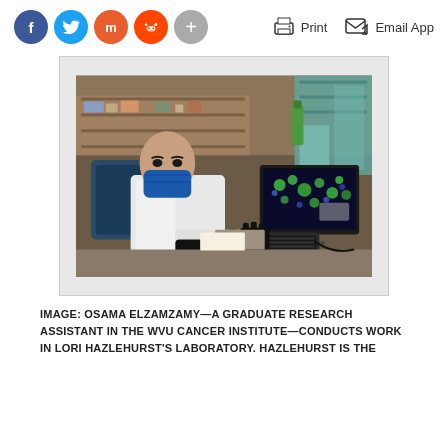[Figure (other): Social sharing buttons: Facebook (blue), Twitter (light blue), Mastodon (orange), Reddit (orange-red), Plus (gray)]
[Figure (other): Print and Email App action links with icons]
[Figure (photo): Photo of Osama Elzamzamy, a graduate research assistant wearing a white lab coat and blue face mask, working at a computer in a laboratory setting. Shelves with lab supplies visible in background, and a monitor showing fluorescence microscopy images.]
IMAGE: OSAMA ELZAMZAMY—A GRADUATE RESEARCH ASSISTANT IN THE WVU CANCER INSTITUTE—CONDUCTS WORK IN LORI HAZLEHURST'S LABORATORY. HAZLEHURST IS THE